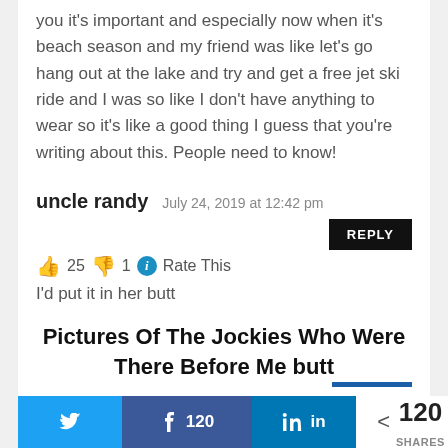you it's important and especially now when it's beach season and my friend was like let's go hang out at the lake and try and get a free jet ski ride and I was so like I don't have anything to wear so it's like a good thing I guess that you're writing about this. People need to know!
uncle randy   July 24, 2019 at 12:42 pm
REPLY
👍 25 👎 1 ℹ Rate This
I'd put it in her butt
Pictures Of The Jockies Who Were There Before Me butt
< 120 SHARES